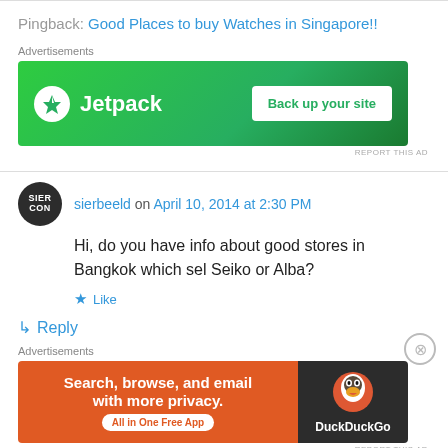Pingback: Good Places to buy Watches in Singapore!!
Advertisements
[Figure (infographic): Jetpack advertisement banner: green background with Jetpack logo and 'Back up your site' button]
REPORT THIS AD
sierbeeld on April 10, 2014 at 2:30 PM
Hi, do you have info about good stores in Bangkok which sel Seiko or Alba?
Like
Reply
Advertisements
[Figure (infographic): DuckDuckGo advertisement banner: orange left panel with 'Search, browse, and email with more privacy. All in One Free App' and dark right panel with DuckDuckGo logo]
REPORT THIS AD